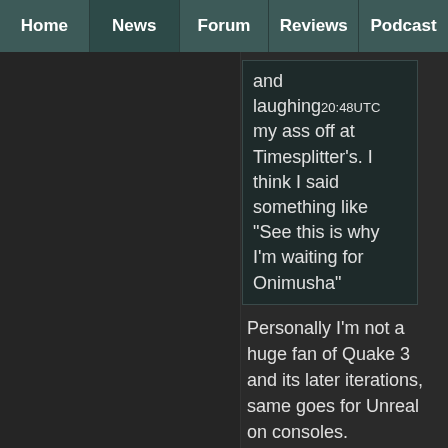Home | News | Forum | Reviews | Podcast
and laughing my ass off at Timesplitter's. I think I said something like "See this is why I'm waiting for Onimusha"
20:48UTC
Personally I'm not a huge fan of Quake 3 and its later iterations, same goes for Unreal on consoles.